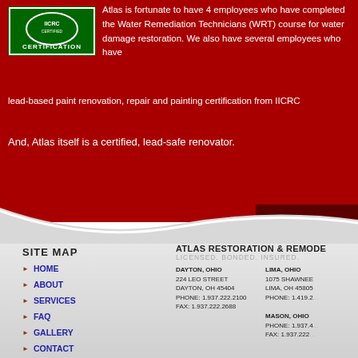[Figure (logo): Green certification logo/badge with white border and text CERTIFICATION]
Atlas is fortunate to have 4 employees who have completed the Water Remediation Technicians (WRT) course for water damage restoration. We also have several employees who have lead-based paint renovation, repair and painting certification from IICRC
And, Atlas itself is a certified, lead-safe renovator.
SITE MAP
HOME
ABOUT
SERVICES
FAQ
GALLERY
CONTACT
ATLAS RESTORATION & REMODELING
LICENSED. BONDED. INSURED.

DAYTON, OHIO
224 LEO STREET
DAYTON, OH 45404
PHONE: 1.937.222.2100
FAX: 1.937.222.2688

LIMA, OHIO
1075 SHAWNEE
LIMA, OH 45805
PHONE: 1.419.2...

MASON, OHIO
PHONE: 1.937.4...
FAX: 1.937.222...